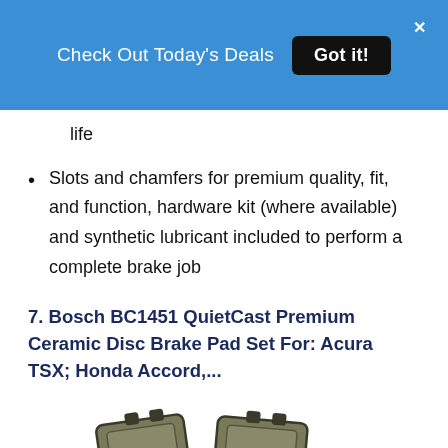Check Out Today's Deals  Got it!
life
Slots and chamfers for premium quality, fit, and function, hardware kit (where available) and synthetic lubricant included to perform a complete brake job
7. Bosch BC1451 QuietCast Premium Ceramic Disc Brake Pad Set For: Acura TSX; Honda Accord,...
[Figure (photo): Photo of Bosch brake pad set showing four ceramic disc brake pads arranged in a group]